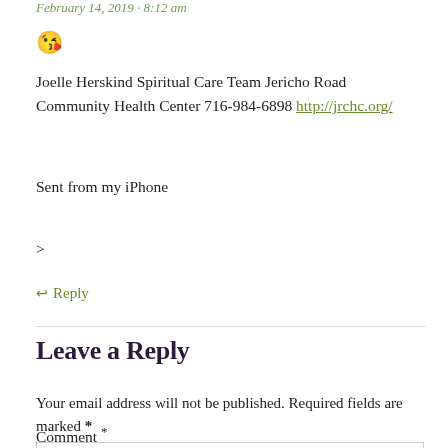February 14, 2019 · 8:12 am
[Figure (illustration): Kissing face with closed eyes emoji 😘]
Joelle Herskind Spiritual Care Team Jericho Road Community Health Center 716-984-6898 http://jrchc.org/
Sent from my iPhone
>
↩ Reply
Leave a Reply
Your email address will not be published. Required fields are marked *
Comment *